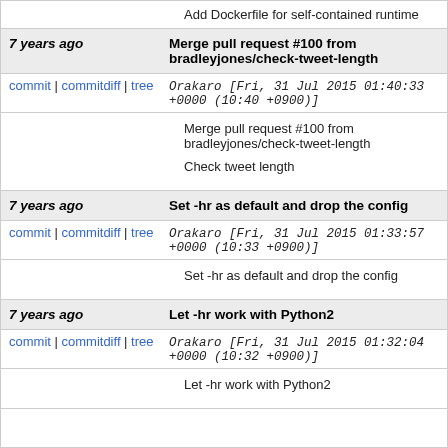Add Dockerfile for self-contained runtime
7 years ago   Merge pull request #100 from bradleyjones/check-tweet-length
commit | commitdiff | tree   Orakaro [Fri, 31 Jul 2015 01:40:33 +0000 (10:40 +0900)]
Merge pull request #100 from bradleyjones/check-tweet-length

Check tweet length
7 years ago   Set -hr as default and drop the config
commit | commitdiff | tree   Orakaro [Fri, 31 Jul 2015 01:33:57 +0000 (10:33 +0900)]
Set -hr as default and drop the config
7 years ago   Let -hr work with Python2
commit | commitdiff | tree   Orakaro [Fri, 31 Jul 2015 01:32:04 +0000 (10:32 +0900)]
Let -hr work with Python2